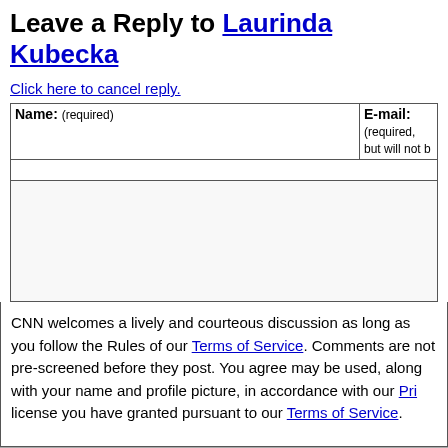Leave a Reply to Laurinda Kubecka
Click here to cancel reply.
| Name: (required) | E-mail: (required, but will not be published) |
| --- | --- |
|  |  |
| URL |  |
| (comment textarea) |  |
CNN welcomes a lively and courteous discussion as long as you follow the Rules of Conduct set forth in our Terms of Service. Comments are not pre-screened before they post. You agree that anything you post may be used, along with your name and profile picture, in accordance with our Privacy Policy and the license you have granted pursuant to our Terms of Service.
Next entry »Go ahead and exercise during cancer treatment
« Previous entryLow-dose aspirin guidelines changing for younger d